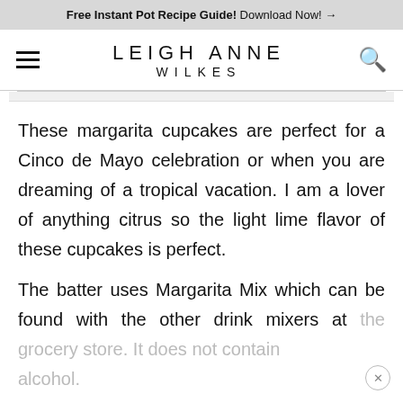Free Instant Pot Recipe Guide! Download Now! →
LEIGH ANNE
WILKES
These margarita cupcakes are perfect for a Cinco de Mayo celebration or when you are dreaming of a tropical vacation. I am a lover of anything citrus so the light lime flavor of these cupcakes is perfect.
The batter uses Margarita Mix which can be found with the other drink mixers at the grocery store.  It does not contain alcohol.